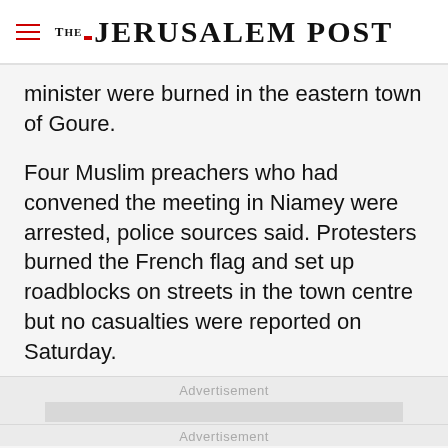THE JERUSALEM POST
minister were burned in the eastern town of Goure.
Four Muslim preachers who had convened the meeting in Niamey were arrested, police sources said. Protesters burned the French flag and set up roadblocks on streets in the town centre but no casualties were reported on Saturday.
Advertisement
Advertisement